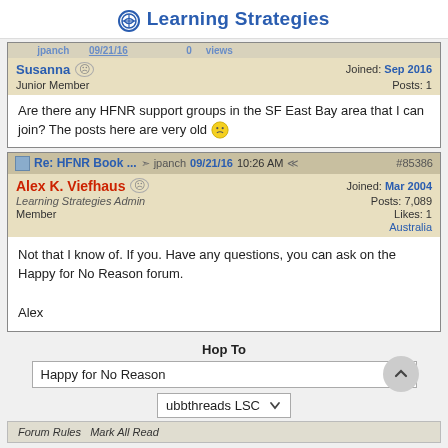Learning Strategies
[truncated post bar - top]
Susanna  Joined: Sep 2016
Junior Member  Posts: 1
Are there any HFNR support groups in the SF East Bay area that I can join? The posts here are very old 😕
Re: HFNR Book ... jpanch 09/21/16 10:26 AM #85386
Alex K. Viefhaus  Joined: Mar 2004
Learning Strategies Admin  Posts: 7,089
Member  Likes: 1
Australia
Not that I know of. If you. Have any questions, you can ask on the Happy for No Reason forum.

Alex
Hop To
Happy for No Reason
ubbthreads LSC
Forum Rules  Mark All Read